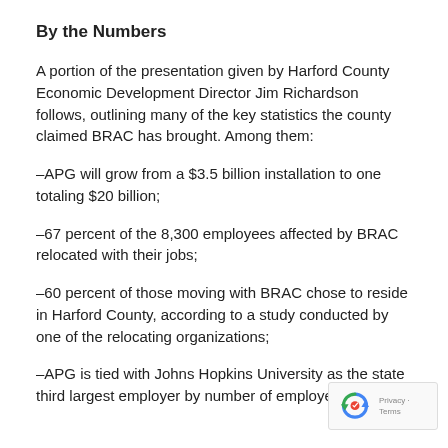By the Numbers
A portion of the presentation given by Harford County Economic Development Director Jim Richardson follows, outlining many of the key statistics the county claimed BRAC has brought. Among them:
–APG will grow from a $3.5 billion installation to one totaling $20 billion;
–67 percent of the 8,300 employees affected by BRAC relocated with their jobs;
–60 percent of those moving with BRAC chose to reside in Harford County, according to a study conducted by one of the relocating organizations;
–APG is tied with Johns Hopkins University as the state third largest employer by number of employees, with